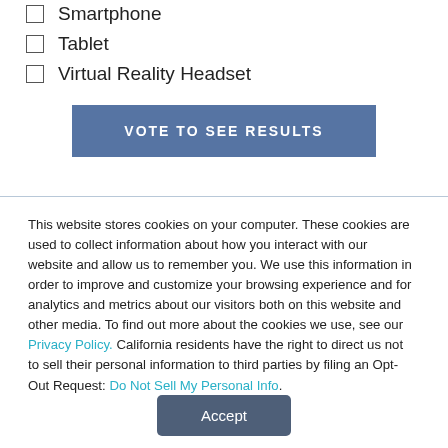Smartphone
Tablet
Virtual Reality Headset
VOTE TO SEE RESULTS
This website stores cookies on your computer. These cookies are used to collect information about how you interact with our website and allow us to remember you. We use this information in order to improve and customize your browsing experience and for analytics and metrics about our visitors both on this website and other media. To find out more about the cookies we use, see our Privacy Policy. California residents have the right to direct us not to sell their personal information to third parties by filing an Opt-Out Request: Do Not Sell My Personal Info.
Accept